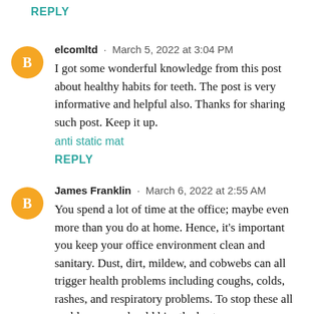REPLY
elcomltd · March 5, 2022 at 3:04 PM
I got some wonderful knowledge from this post about healthy habits for teeth. The post is very informative and helpful also. Thanks for sharing such post. Keep it up.
anti static mat
REPLY
James Franklin · March 6, 2022 at 2:55 AM
You spend a lot of time at the office; maybe even more than you do at home. Hence, it's important you keep your office environment clean and sanitary. Dust, dirt, mildew, and cobwebs can all trigger health problems including coughs, colds, rashes, and respiratory problems. To stop these all problems you should hire the best